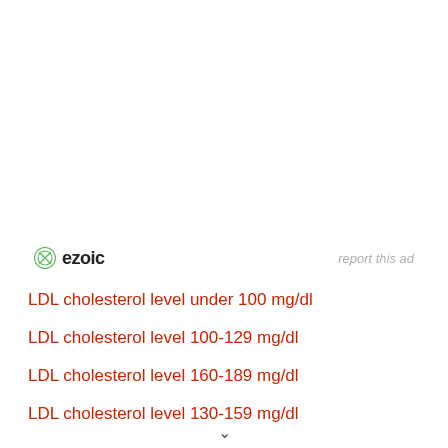[Figure (logo): Ezoic logo with green circular icon and bold 'ezoic' text, with 'report this ad' link to the right]
LDL cholesterol level under 100 mg/dl
LDL cholesterol level 100-129 mg/dl
LDL cholesterol level 160-189 mg/dl
LDL cholesterol level 130-159 mg/dl